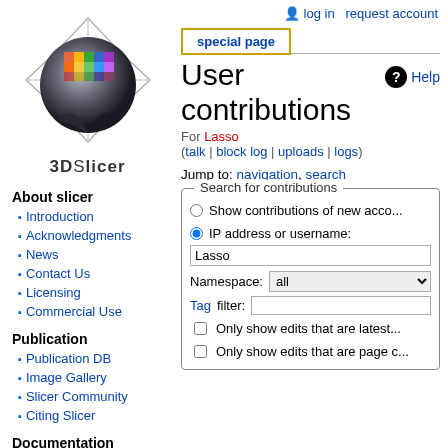log in   request account
[Figure (logo): 3D Slicer logo — a 3D sphere with colorful grid and geometric star/diamond overlay]
3DSlicer
About slicer
Introduction
Acknowledgments
News
Contact Us
Licensing
Commercial Use
Publication
Publication DB
Image Gallery
Slicer Community
Citing Slicer
Documentation
special page
User contributions
Help
For Lasso
(talk | block log | uploads | logs)
Jump to: navigation, search
Search for contributions
Show contributions of new acco...
IP address or username:
Lasso
Namespace: all
Tag filter:
Only show edits that are latest...
Only show edits that are page c...